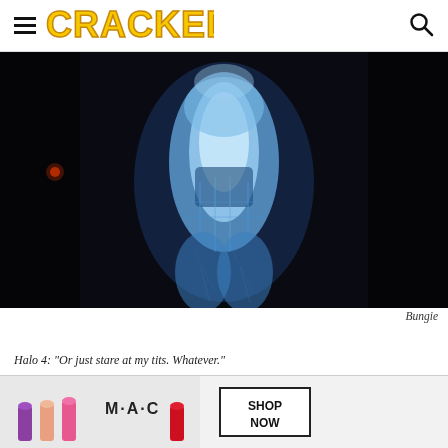CRACKED
[Figure (screenshot): Close-up of Cortana from Halo 4, a glowing blue holographic female AI figure with circuit-like patterns, torso and legs visible against a dark background.]
Bungie
Halo 4: "Or just stare at my tits. Whatever."
[Figure (photo): MAC cosmetics advertisement banner showing lipsticks in purple, peach, pink, and red colors with 'M·A·C' logo and 'SHOP NOW' button.]